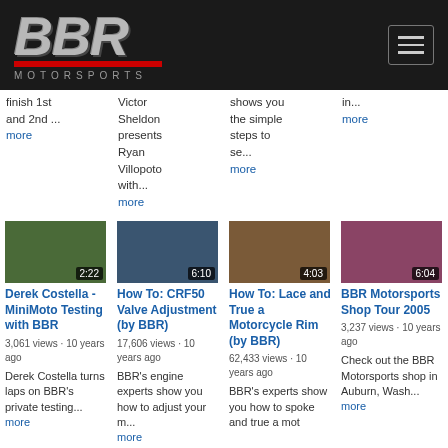[Figure (logo): BBR Motorsports logo with stylized BBR letters in gray/silver italic font, red bar underneath, MOTORSPORTS text below, on dark background]
finish 1st and 2nd ...
more
Victor Sheldon presents Ryan Villopoto with...
more
shows you the simple steps to se...
more
in...
more
[Figure (screenshot): Video thumbnail for Derek Costella - MiniMoto Testing with BBR, duration 2:22, green/outdoor scene]
Derek Costella - MiniMoto Testing with BBR
3,061 views · 10 years ago
Derek Costella turns laps on BBR's private testing...
more
[Figure (screenshot): Video thumbnail for How To: CRF50 Valve Adjustment (by BBR), duration 6:10, racing scene]
How To: CRF50 Valve Adjustment (by BBR)
17,606 views · 10 years ago
BBR's engine experts show you how to adjust your m...
more
[Figure (screenshot): Video thumbnail for How To: Lace and True a Motorcycle Rim (by BBR), duration 4:03, brown/workshop scene]
How To: Lace and True a Motorcycle Rim (by BBR)
62,433 views · 10 years ago
BBR's experts show you how to spoke and true a mot
[Figure (screenshot): Video thumbnail for BBR Motorsports Shop Tour 2005, duration 6:04, pink/indoor scene]
BBR Motorsports Shop Tour 2005
3,237 views · 10 years ago
Check out the BBR Motorsports shop in Auburn, Wash...
more